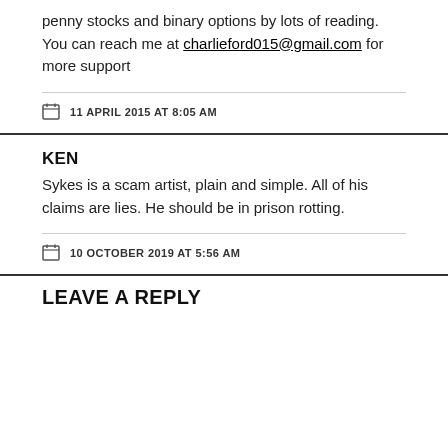penny stocks and binary options by lots of reading. You can reach me at charlieford015@gmail.com for more support
11 APRIL 2015 AT 8:05 AM
KEN
Sykes is a scam artist, plain and simple. All of his claims are lies. He should be in prison rotting.
10 OCTOBER 2019 AT 5:56 AM
LEAVE A REPLY